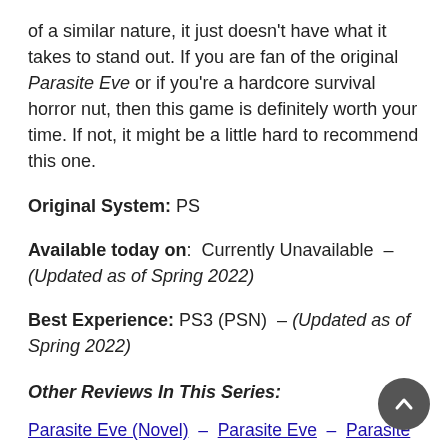of a similar nature, it just doesn't have what it takes to stand out. If you are fan of the original Parasite Eve or if you're a hardcore survival horror nut, then this game is definitely worth your time. If not, it might be a little hard to recommend this one.
Original System: PS
Available today on: Currently Unavailable – (Updated as of Spring 2022)
Best Experience: PS3 (PSN) – (Updated as of Spring 2022)
Other Reviews In This Series:
Parasite Eve (Novel) – Parasite Eve – Parasite Eve